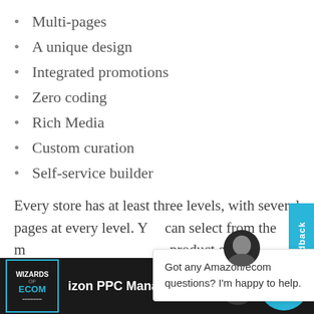Multi-pages
A unique design
Integrated promotions
Zero coding
Rich Media
Custom curation
Self-service builder
Every store has at least three levels, with several pages at every level. You can select from the many templates including product grid templates and customize from it.
[Figure (screenshot): Chat popup overlay with avatar photo and text: Got any Amazon/ecom questions? I'm happy to help. With close X button. Also a cyan Feedback vertical tab on right side.]
WIZARDS OF ECOM | Amazon PPC Management Workflow Sh